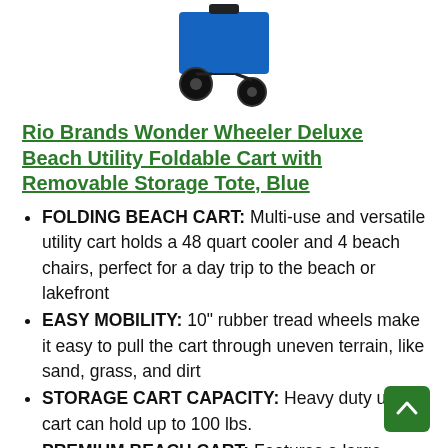[Figure (photo): Product photo of a blue foldable beach utility cart with black rubber wheels, partially visible at the top of the page.]
Rio Brands Wonder Wheeler Deluxe Beach Utility Foldable Cart with Removable Storage Tote, Blue
FOLDING BEACH CART: Multi-use and versatile utility cart holds a 48 quart cooler and 4 beach chairs, perfect for a day trip to the beach or lakefront
EASY MOBILITY: 10" rubber tread wheels make it easy to pull the cart through uneven terrain, like sand, grass, and dirt
STORAGE CART CAPACITY: Heavy duty utility cart can hold up to 100 lbs.
PREMIUM BEACH CART: Features a large mesh storage pouch, perfect for storing beach towels, beach toys, sunblock, and more, while an insulated beverage compartment keeps drinks and